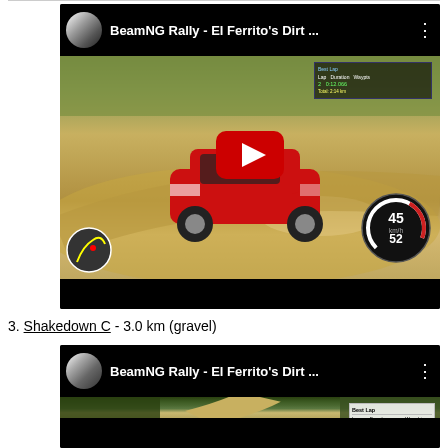[Figure (screenshot): YouTube video thumbnail for 'BeamNG Rally - El Ferrito's Dirt ...' showing a red SUV on a dirt rally stage with a play button overlay, speedometer HUD, and game UI.]
3. Shakedown C - 3.0 km (gravel)
[Figure (screenshot): YouTube video thumbnail for 'BeamNG Rally - El Ferrito's Dirt ...' showing a dirt road through forest with a lap time HUD in the upper right corner.]